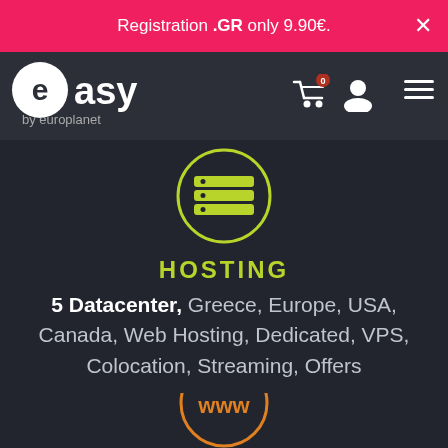Registration .GR only 9.90€.
[Figure (logo): Easy by Europlanet logo with navigation bar including cart (0 items), user icon, and menu icon]
[Figure (illustration): Server stack icon in a lime-green circle]
HOSTING
5 Datacenter, Greece, Europe, USA, Canada, Web Hosting, Dedicated, VPS, Colocation, Streaming, Offers
[Figure (illustration): WWW globe icon in orange circle (partially visible at bottom)]